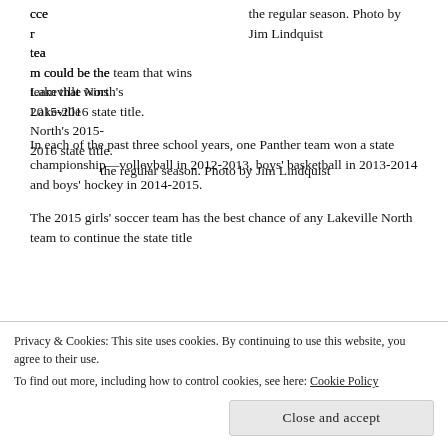cce
r
tea
m could be the team that wins Lakeville North's 2015-2016 state title.
the regular season. Photo by Jim Lindquist
In each of the past three school years, one Panther team won a state championship—volleyball in 2012-2013, boys’ basketball in 2013-2014 and boys’ hockey in 2014-2015.
The 2015 girls’ soccer team has the best chance of any Lakeville North team to continue the state title
Privacy & Cookies: This site uses cookies. By continuing to use this website, you agree to their use.
To find out more, including how to control cookies, see here: Cookie Policy